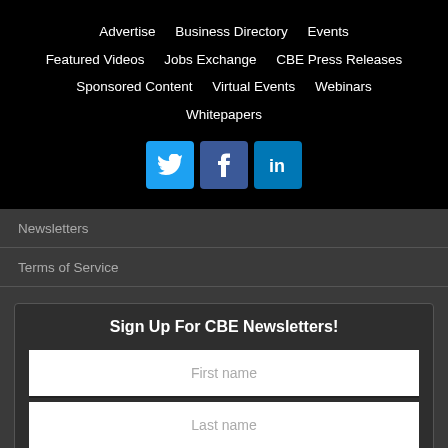Advertise   Business Directory   Events   Featured Videos   Jobs Exchange   CBE Press Releases   Sponsored Content   Virtual Events   Webinars   Whitepapers
[Figure (other): Social media icons: Twitter (blue bird icon), Facebook (blue f icon), LinkedIn (blue in icon)]
Newsletters
Terms of Service
Sign Up For CBE Newsletters!
First name
Last name
Your email address